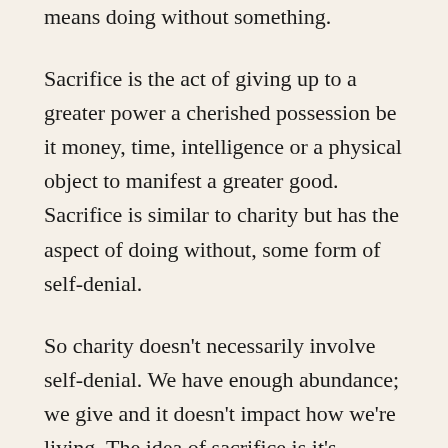means doing without something.
Sacrifice is the act of giving up to a greater power a cherished possession be it money, time, intelligence or a physical object to manifest a greater good. Sacrifice is similar to charity but has the aspect of doing without, some form of self-denial.
So charity doesn't necessarily involve self-denial. We have enough abundance; we give and it doesn't impact how we're living. The idea of sacrifice is it's impacting some aspect of our life. Example is fasting for a day, giving the money saved to a Hindu institution. Going on a budget vacation instead of an expensive one and taking the difference and giving it away to a Hindu institution. It's a very good practice for teenagers to be involved in to some degree because our culture today is one of... It doesn't have that kind of discipline. We're used to just indulging ourselves. And the idea of doing without and giving what